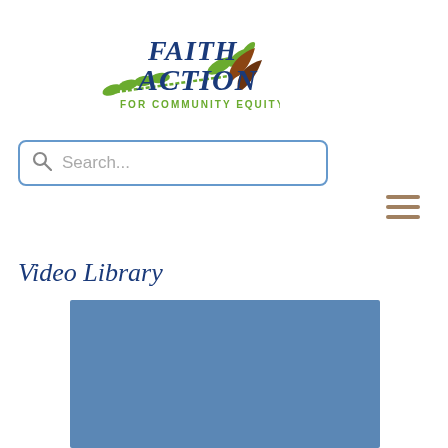[Figure (logo): Faith Action for Community Equity logo with stylized hands holding an olive branch and green/blue text]
Search...
[Figure (other): Hamburger menu icon with three horizontal lines]
Video Library
[Figure (other): Blue video player placeholder thumbnail]